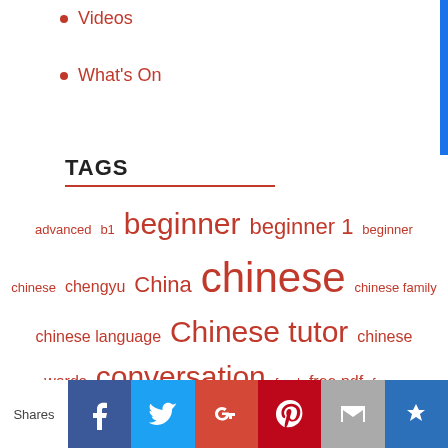Videos
What's On
TAGS
[Figure (infographic): Tag cloud of Chinese language learning topics in varying sizes and red color. Tags include: advanced, b1, beginner, beginner 1, beginner, chinese, chengyu, China, chinese, chinese family, chinese language, Chinese tutor, chinese, words, conversation, food, free pdf, funny, intermediate, kids chinese, language, Language Learning, Learn, learn, chinese, learnchinese, learning, Learning]
Shares | Facebook | Twitter | Google+ | Pinterest | Email | Crown